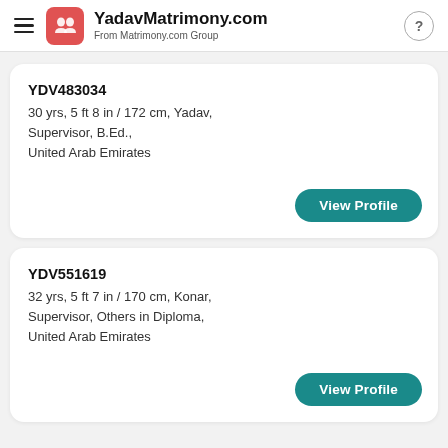YadavMatrimony.com — From Matrimony.com Group
YDV483034
30 yrs, 5 ft 8 in / 172 cm, Yadav,
Supervisor, B.Ed.,
United Arab Emirates
View Profile
YDV551619
32 yrs, 5 ft 7 in / 170 cm, Konar,
Supervisor, Others in Diploma,
United Arab Emirates
View Profile